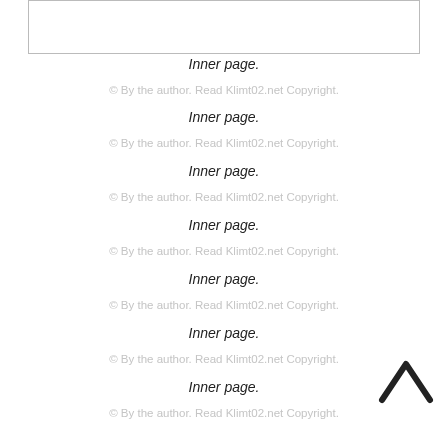[Figure (other): White rectangle with border, top of page, inner page thumbnail]
Inner page.
© By the author. Read Klimt02.net Copyright.
Inner page.
© By the author. Read Klimt02.net Copyright.
Inner page.
© By the author. Read Klimt02.net Copyright.
Inner page.
© By the author. Read Klimt02.net Copyright.
Inner page.
© By the author. Read Klimt02.net Copyright.
Inner page.
© By the author. Read Klimt02.net Copyright.
Inner page.
© By the author. Read Klimt02.net Copyright.